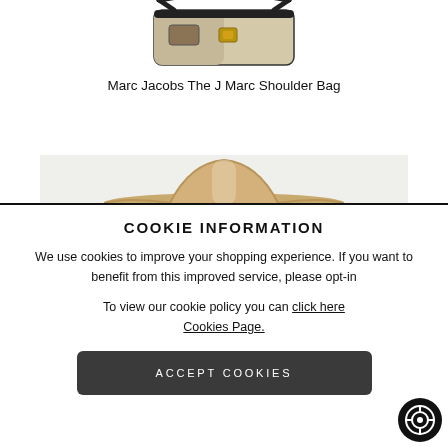[Figure (photo): Marc Jacobs The J Marc Shoulder Bag product image, partial view at top of page]
Marc Jacobs The J Marc Shoulder Bag
[Figure (photo): Straw sun hat product image on light grey background, partially visible]
COOKIE INFORMATION
We use cookies to improve your shopping experience. If you want to benefit from this improved service, please opt-in
To view our cookie policy you can click here Cookies Page.
ACCEPT COOKIES